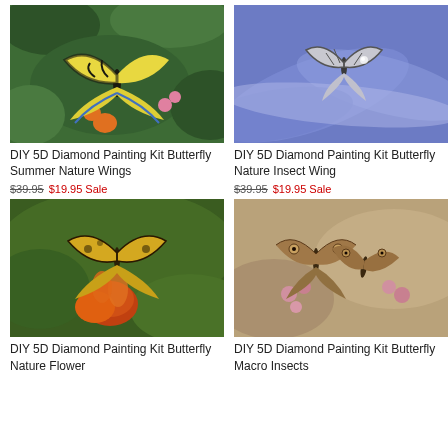[Figure (photo): Yellow and black swallowtail butterfly on orange and pink flowers with green leaves background]
DIY 5D Diamond Painting Kit Butterfly Summer Nature Wings
$39.95 $19.95 Sale
[Figure (photo): Small butterfly resting on purple/blue flower petals with soft blue background]
DIY 5D Diamond Painting Kit Butterfly Nature Insect Wing
$39.95 $19.95 Sale
[Figure (photo): Golden butterfly on red and orange marigold flowers with green background]
DIY 5D Diamond Painting Kit Butterfly Nature Flower
[Figure (photo): Two brown patterned butterflies on pink flowers with blurred background]
DIY 5D Diamond Painting Kit Butterfly Macro Insects